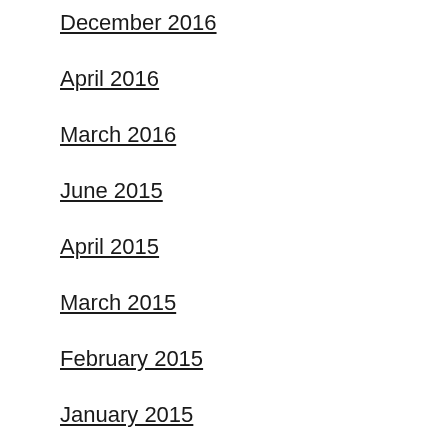December 2016
April 2016
March 2016
June 2015
April 2015
March 2015
February 2015
January 2015